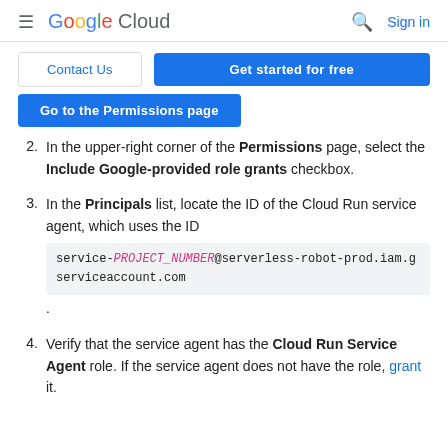Google Cloud  Sign in
Contact Us   Get started for free
Go to the Permissions page
2. In the upper-right corner of the Permissions page, select the Include Google-provided role grants checkbox.
3. In the Principals list, locate the ID of the Cloud Run service agent, which uses the ID service-PROJECT_NUMBER@serverless-robot-prod.iam.gserviceaccount.com.
4. Verify that the service agent has the Cloud Run Service Agent role. If the service agent does not have the role, grant it.